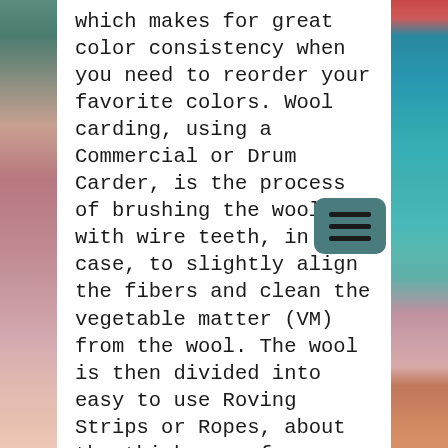[Figure (photo): Left side decorative image strip showing colorful yarn/wool fibers]
which makes for great color consistency when you need to reorder your favorite colors. Wool carding, using a Commercial or Drum Carder, is the process of brushing the wool with wire teeth, in this case, to slightly align the fibers and clean the vegetable matter (VM) from the wool. The wool is then divided into easy to use Roving Strips or Ropes, about the thickness of an empty toilet paper roll & with a slight twist. Because Roving consists of a blend of slightly aligned & non-aligned fibers, you may find it easier to start Needle Felting these fibers by first conditioning them. You do this by repeatedly rolling the fibers to get the
[Figure (photo): Right side decorative image strip showing colorful felt crafts including a star ornament and teal/green felt fabric]